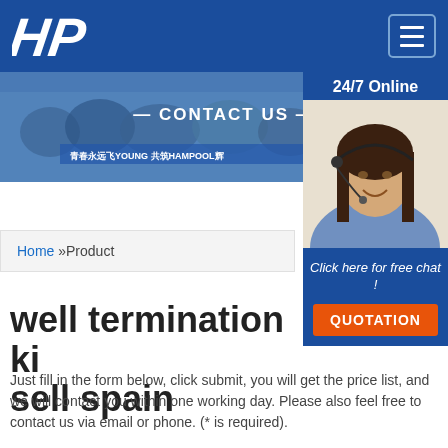[Figure (logo): HP logo in white on blue header bar with hamburger menu icon]
[Figure (photo): Banner photo showing group of people with text CONTACT US and Chinese text 青春永远飞YOUNG 共筑HAMPOOL辉]
[Figure (photo): Side panel showing woman with headset, 24/7 Online label, Click here for free chat text, and QUOTATION button]
Home »Product
well termination ki sell spain
Just fill in the form below, click submit, you will get the price list, and we will contact you within one working day. Please also feel free to contact us via email or phone. (* is required).